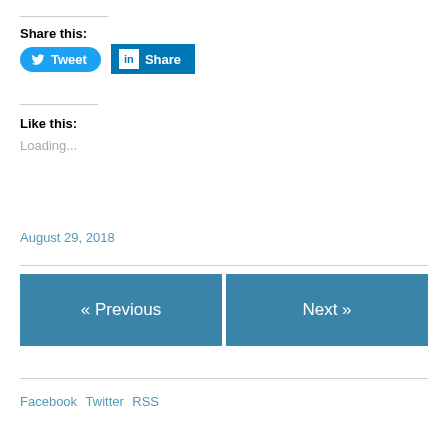Share this:
[Figure (other): Tweet button (Twitter) and Share button (LinkedIn) social sharing buttons]
Like this:
Loading...
August 29, 2018
« Previous
Next »
Facebook Twitter RSS